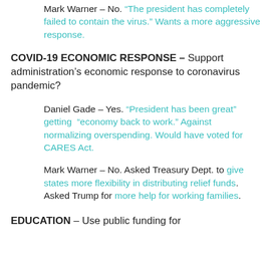Mark Warner – No. "The president has completely failed to contain the virus." Wants a more aggressive response.
COVID-19 ECONOMIC RESPONSE – Support administration's economic response to coronavirus pandemic?
Daniel Gade – Yes. "President has been great" getting "economy back to work." Against normalizing overspending. Would have voted for CARES Act.
Mark Warner – No. Asked Treasury Dept. to give states more flexibility in distributing relief funds. Asked Trump for more help for working families.
EDUCATION – Use public funding for